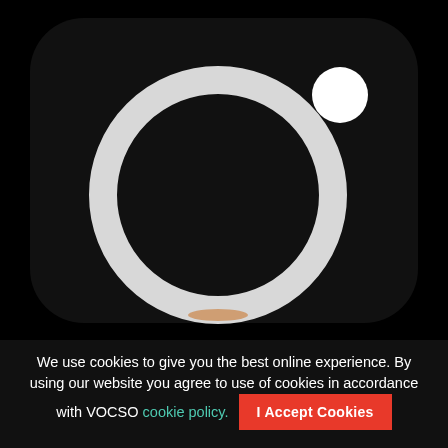[Figure (logo): Instagram-style camera icon: black rounded square background with a large white ring (camera lens outline) in the center and a small white filled circle in the upper right area.]
We use cookies to give you the best online experience. By using our website you agree to use of cookies in accordance with VOCSO cookie policy. I Accept Cookies